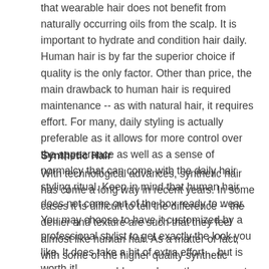that wearable hair does not benefit from naturally occurring oils from the scalp. It is important to hydrate and condition hair daily. Human hair is by far the superior choice if quality is the only factor. Other than price, the main drawback to human hair is required maintenance -- as with natural hair, it requires effort. For many, daily styling is actually preferable as it allows for more control over the appearance as well as a sense of normalcy that can come with the daily hair styling ritual. Keep in mind that human hair does not come out of the box ready to wear. You may choose to have it customized by a professional stylist to get exactly the look you like. It does take a bit of extra effort… but is worth it!
Synthetic Hair
With technological advances, synthetic hair has come a long way in recent years. In some cases it is difficult to tell the difference -- the denier and texture are such that they feel almost like human hair. As a matter of fact, with some of the higher quality synthetic pieces, you would never know they were not natural human hair if you didn't have the human hair right next to it to compare! The most appealing aspect to synthetic hair is it can often be worn right out of the box with little or no styling. The fiber used has "memory" for wave, curl